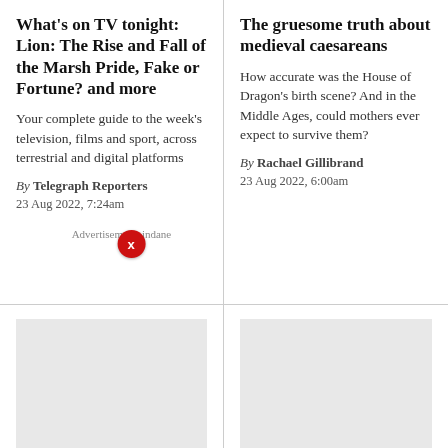What's on TV tonight: Lion: The Rise and Fall of the Marsh Pride, Fake or Fortune? and more
Your complete guide to the week's television, films and sport, across terrestrial and digital platforms
By Telegraph Reporters
23 Aug 2022, 7:24am
The gruesome truth about medieval caesareans
How accurate was the House of Dragon's birth scene? And in the Middle Ages, could mothers ever expect to survive them?
By Rachael Gillibrand
23 Aug 2022, 6:00am
Disability and Abortion: The Hardest Choice, review:
House of the Dragon, episode 1, talking points: sex, gore